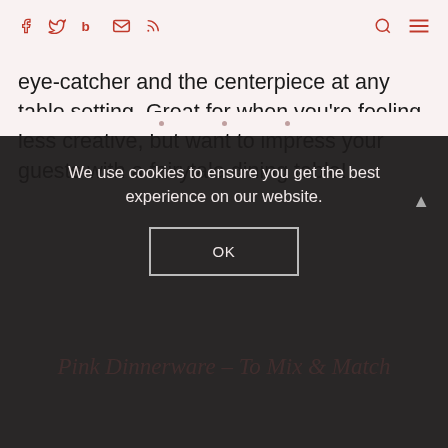Social media icons: facebook, twitter, bloglovin, email, rss | search, menu
eye-catcher and the centerpiece at any table setting. Great for when you're feeling less creative, but want to impress your guests with a fairytale dining table!
We use cookies to ensure you get the best experience on our website.
OK
Pink Dinnerware – To Mix & Match